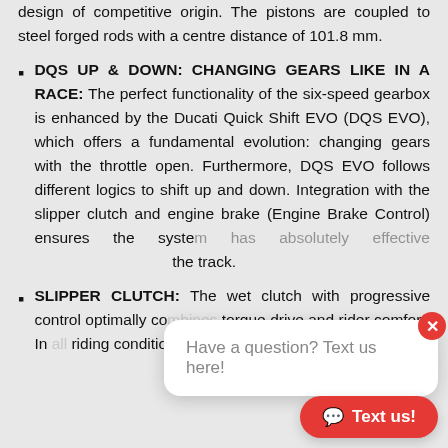design of competitive origin. The pistons are coupled to steel forged rods with a centre distance of 101.8 mm.
DQS UP & DOWN: CHANGING GEARS LIKE IN A RACE: The perfect functionality of the six-speed gearbox is enhanced by the Ducati Quick Shift EVO (DQS EVO), which offers a fundamental evolution: changing gears with the throttle open. Furthermore, DQS EVO follows different logics to shift up and down. Integration with the slipper clutch and engine brake (Engine Brake Control) ensures the system has absolutely effective... on the track.
SLIPPER CLUTCH: The wet clutch with progressive control optimally co... torque drive and rider comfort. In... riding conditions with sudden downshifts and